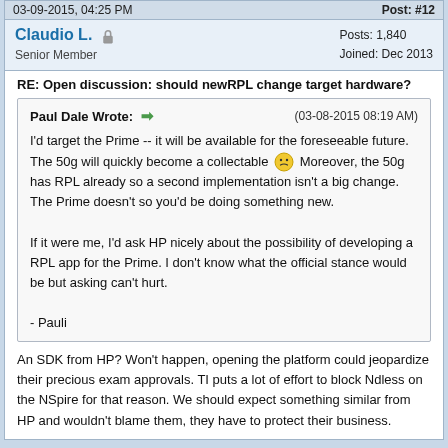03-09-2015, 04:25 PM    Post: #12
Claudio L.  Senior Member    Posts: 1,840  Joined: Dec 2013
RE: Open discussion: should newRPL change target hardware?
Paul Dale Wrote: ➡ (03-08-2015 08:19 AM)

I'd target the Prime -- it will be available for the foreseeable future. The 50g will quickly become a collectable 😕 Moreover, the 50g has RPL already so a second implementation isn't a big change. The Prime doesn't so you'd be doing something new.

If it were me, I'd ask HP nicely about the possibility of developing a RPL app for the Prime. I don't know what the official stance would be but asking can't hurt.

- Pauli
An SDK from HP? Won't happen, opening the platform could jeopardize their precious exam approvals. TI puts a lot of effort to block Ndless on the NSpire for that reason. We should expect something similar from HP and wouldn't blame them, they have to protect their business.